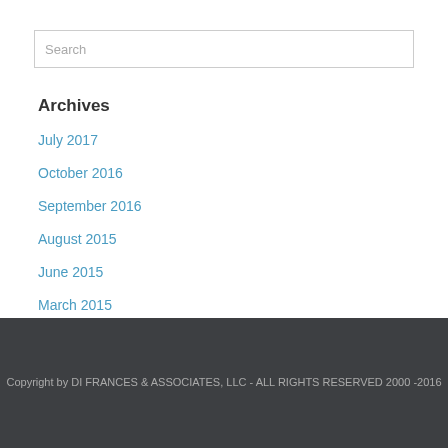Search
Archives
July 2017
October 2016
September 2016
August 2015
June 2015
March 2015
Copyright by DI FRANCES & ASSOCIATES, LLC - ALL RIGHTS RESERVED 2000 -2016